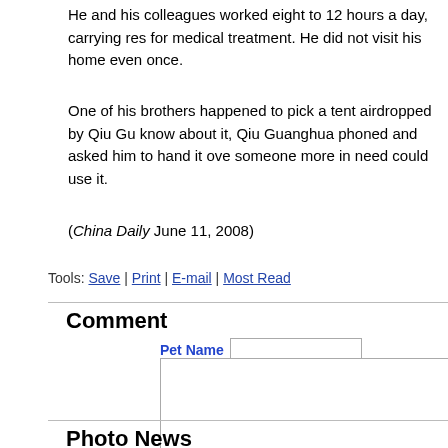He and his colleagues worked eight to 12 hours a day, carrying res for medical treatment. He did not visit his home even once.
One of his brothers happened to pick a tent airdropped by Qiu Gu know about it, Qiu Guanghua phoned and asked him to hand it ove someone more in need could use it.
(China Daily June 11, 2008)
Tools: Save | Print | E-mail | Most Read
Comment
Pet Name [input field]
[comment textarea]
Submit | View All Comments
Photo News